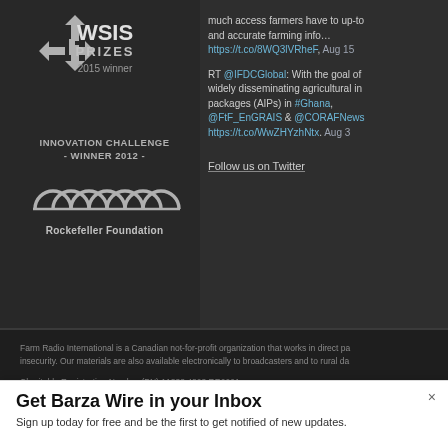[Figure (logo): WSIS Prizes 2015 winner logo with star/arrow icon]
INNOVATION CHALLENGE - WINNER 2012 -
[Figure (logo): Rockefeller Foundation arch logo]
Rockefeller Foundation
much access farmers have to up-to and accurate farming info… https://t.co/8WQ3lVRheF, Aug 15
RT @IFDCGlobal: With the goal of widely disseminating agricultural in packages (AIPs) in #Ghana, @FtF_EnGRAIS & @CORAFNews https://t.co/WwZHYzhNtx, Aug 3
Follow us on Twitter
Farm Radio International is a Canadian not-for-profit organization that works in direct pa insecurity. Our materials are also available electronically to broadcasters and to rural da
Charitable Registration Number (BN) 11888 4808 RR0001
Get Barza Wire in your Inbox
Sign up today for free and be the first to get notified of new updates.